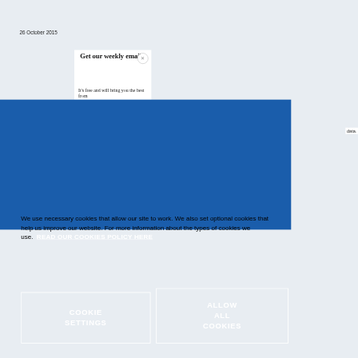26 October 2015
Get our weekly email
It's free and will bring you the best from
We use necessary cookies that allow our site to work. We also set optional cookies that help us improve our website. For more information about the types of cookies we use. READ OUR COOKIES POLICY HERE
COOKIE SETTINGS
ALLOW ALL COOKIES
data.